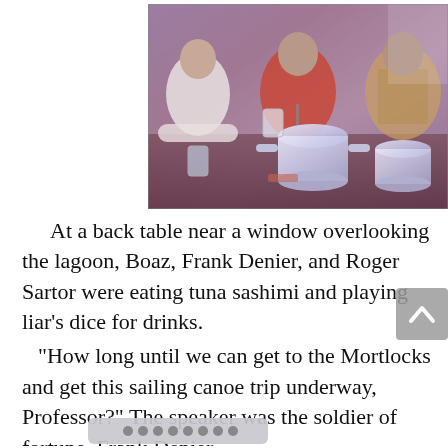[Figure (photo): Photograph of three people sitting at a wooden table near a window. They appear to be eating and playing dice. Large metallic cooking pots are visible on the table. The photo has a purple/pink tinge. A glass and cups are also on the table.]
At a back table near a window overlooking the lagoon, Boaz, Frank Denier, and Roger Sartor were eating tuna sashimi and playing liar's dice for drinks.
 "How long until we can get to the Mortlocks and get this sailing canoe trip underway, Professor?" The speaker was the soldier of fortune, Frank Denier.
 "There is no such animal as regular sailing schedules in this part of the Pacific, Frank. Capt. Mutt Scuddy will know if anyone [obscured] az replied.